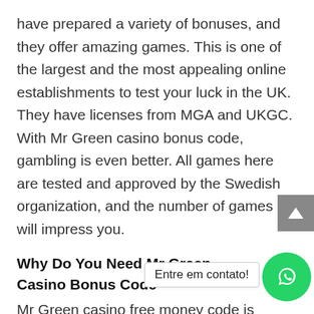have prepared a variety of bonuses, and they offer amazing games. This is one of the largest and the most appealing online establishments to test your luck in the UK. They have licenses from MGA and UKGC. With Mr Green casino bonus code, gambling is even better. All games here are tested and approved by the Swedish organization, and the number of games will impress you.
Why Do You Need Mr Green Casino Bonus Code
Mr Green casino free money code is essential if you are planning to play games here. First of a' [nt] made by almost every well-known software developer. Some examples include